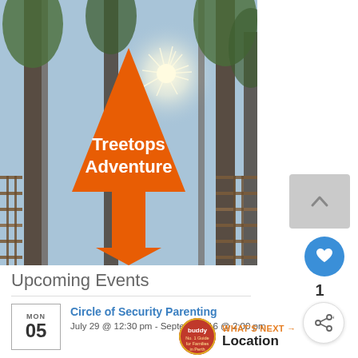[Figure (photo): Outdoor adventure park photo showing tall trees and wooden platforms/ladders, with a large orange tree/arrow logo overlay reading 'Treetops Adventure']
Upcoming Events
[Figure (logo): Buddy logo - circular red badge for No.1 Guide for Families in Perth]
WHAT'S NEXT → Location
MON
05
Circle of Security Parenting
July 29 @ 12:30 pm - September 16 @ 2:00 pm